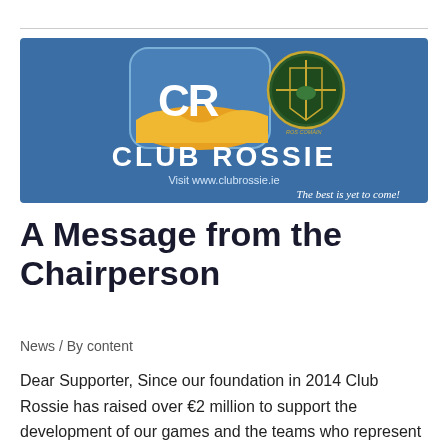[Figure (logo): Club Rossie banner with blue background, CR logo with gold wave design, Roscommon GAA crest, text 'CLUB ROSSIE', 'Visit www.clubrossie.ie', 'The best is yet to come!']
A Message from the Chairperson
News / By content
Dear Supporter, Since our foundation in 2014 Club Rossie has raised over €2 million to support the development of our games and the teams who represent our county. This has been made possible by you, by our Business Members, our Sponsors and